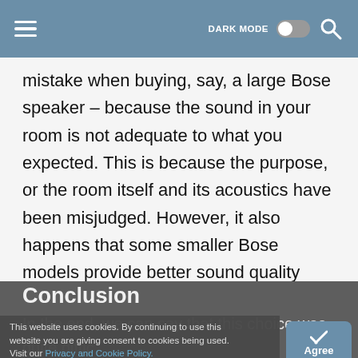DARK MODE  [toggle]  [search icon]
mistake when buying, say, a large Bose speaker – because the sound in your room is not adequate to what you expected. This is because the purpose, or the room itself and its acoustics have been misjudged. However, it also happens that some smaller Bose models provide better sound quality than large ones. Although today you can find this brand with discounts and benefits when shopping – still think carefully about the purpose. And don't forget to read reviews on every model – because that's where' you'll find out what you can really expect.
Conclusion
In the end, we can say that this choice was quite difficult for us as well. Namely, these are two brands that are approximately the same quality and price range. However,
This website uses cookies. By continuing to use this website you are giving consent to cookies being used. Visit our Privacy and Cookie Policy.